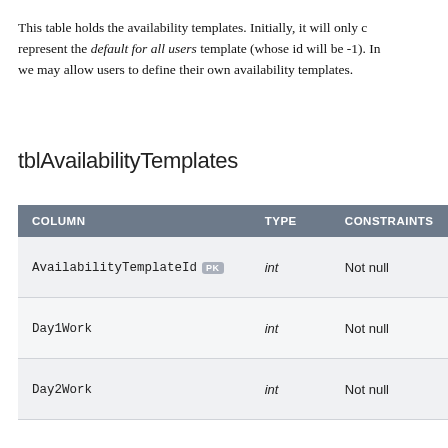This table holds the availability templates. Initially, it will only contain one row to represent the default for all users template (whose id will be -1). In the future, we may allow users to define their own availability templates.
tblAvailabilityTemplates
| COLUMN | TYPE | CONSTRAINTS |
| --- | --- | --- |
| AvailabilityTemplateId [PK] | int | Not null |
| Day1Work | int | Not null |
| Day2Work | int | Not null |